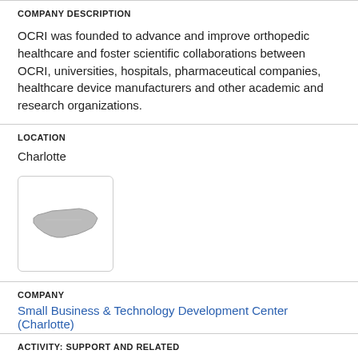COMPANY DESCRIPTION
OCRI was founded to advance and improve orthopedic healthcare and foster scientific collaborations between OCRI, universities, hospitals, pharmaceutical companies, healthcare device manufacturers and other academic and research organizations.
LOCATION
Charlotte
[Figure (map): Small thumbnail map showing the shape of North Carolina state outline in gray on a white background, inside a rounded rectangle border.]
COMPANY
Small Business & Technology Development Center (Charlotte)
ACTIVITY: SUPPORT AND RELATED
[Figure (illustration): Green icon showing three people/group figures representing a team or community.]